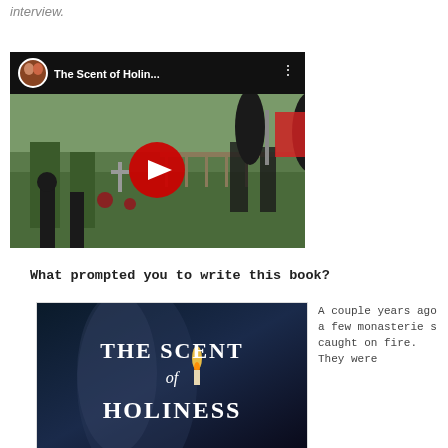interview.
[Figure (screenshot): YouTube video thumbnail showing 'The Scent of Holin...' with nuns/monks in a monastery setting, featuring a red play button and a circular avatar in the top-left corner.]
What prompted you to write this book?
[Figure (photo): Book cover for 'The Scent of Holiness' showing white text on a dark background with a candle flame image.]
A couple years ago a few monasteries caught on fire. They were